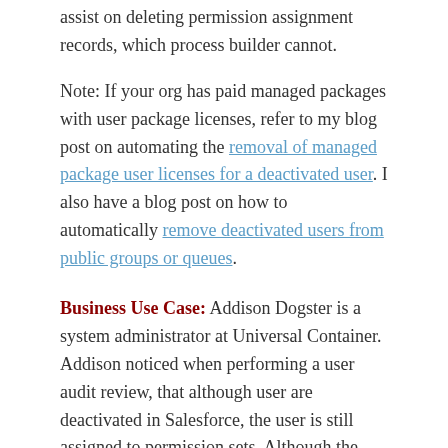assist on deleting permission assignment records, which process builder cannot.
Note: If your org has paid managed packages with user package licenses, refer to my blog post on automating the removal of managed package user licenses for a deactivated user. I also have a blog post on how to automatically remove deactivated users from public groups or queues.
Business Use Case: Addison Dogster is a system administrator at Universal Container. Addison noticed when performing a user audit review, that although user are deactivated in Salesforce, the user is still assigned to permission sets. Although the removal of a user from permission sets is on the deactivated user checklist, sometimes, it may be overlooked due to human error.